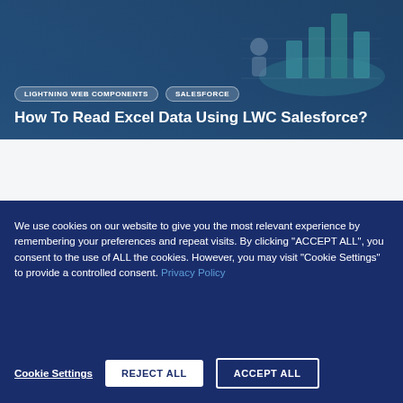[Figure (illustration): Blog post hero image with dark blue background showing a 3D isometric bar chart illustration in teal/green colors with a person figure, overlaid with tag pills and a title]
How To Read Excel Data Using LWC Salesforce?
We use cookies on our website to give you the most relevant experience by remembering your preferences and repeat visits. By clicking "ACCEPT ALL", you consent to the use of ALL the cookies. However, you may visit "Cookie Settings" to provide a controlled consent. Privacy Policy